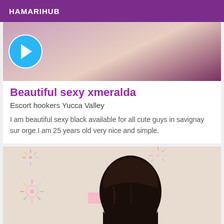HAMARIHUB
[Figure (photo): Top image showing partial body/shoulder with Telegram icon overlay, purple/peach tones]
Beautiful sexy xmeralda
Escort hookers Yucca Valley
I am beautiful sexy black available for all cute guys in savignay sur orge.I am 25 years old very nice and simple.
[Figure (photo): Photo of person with dark hair viewed from behind/side, standing against a wall with colorful firework decorations, beige/cream background]